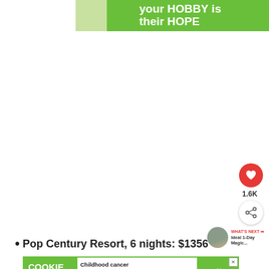[Figure (screenshot): Green banner advertisement for Cookies for Kids' Cancer: 'your HOBBY is their HOPE' with logo]
[Figure (screenshot): White blank content area of a web page with heart/like button showing 1.6K, share button, and What's Next panel showing 'Ideal 1-Day Magic...']
Pop Century Resort, 6 nights: $1356
[Figure (screenshot): Bottom advertisement: COOKIE DOUGH - Childhood cancer didn't stop for COVID-19. Cookies for Kids Cancer GET BAKING]